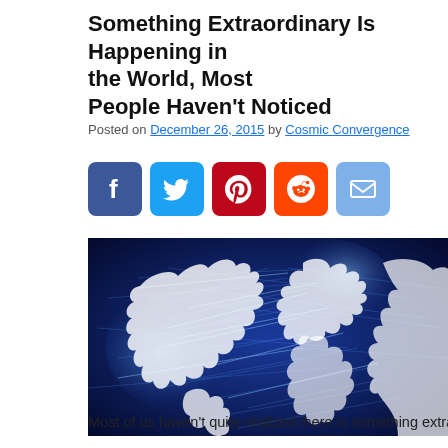Something Extraordinary Is Happening in the World, Most People Haven't Noticed
Posted on December 26, 2015 by Cosmic Convergence
[Figure (infographic): Social media share buttons: Facebook (blue), Twitter (light blue), Pinterest (red), Reddit (orange), Email (blue), and a plus button (blue)]
[Figure (photo): Digital world map with glowing blue network connections on a dark blue background, showing continents illuminated by light blue network lines]
Most of us haven't quite realized there is something extraordina...